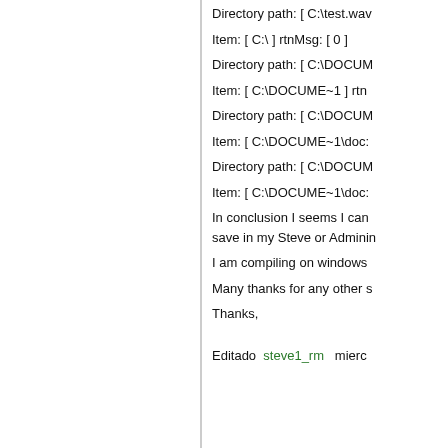Directory path: [ C:\test.wav
Item: [ C:\ ] rtnMsg: [ 0 ]
Directory path: [ C:\DOCUM
Item: [ C:\DOCUME~1 ] rtn
Directory path: [ C:\DOCUM
Item: [ C:\DOCUME~1\doc:
Directory path: [ C:\DOCUM
Item: [ C:\DOCUME~1\doc:
In conclusion I seems I can save in my Steve or Adminin
I am compiling on windows
Many thanks for any other s
Thanks,
Editado  steve1_rm  mierc